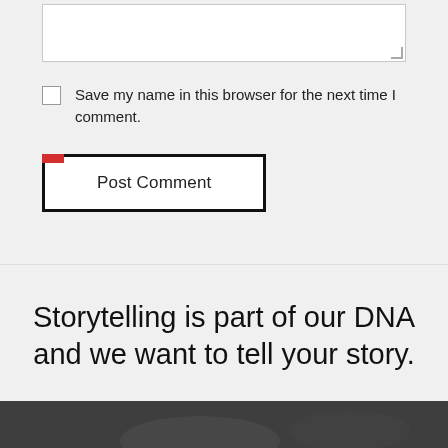[Figure (screenshot): Partial textarea input field at top of page, showing a comment form text area with resize handle]
Save my name in this browser for the next time I comment.
[Figure (screenshot): Post Comment button with thick black border and small red accent in top-left corner]
Storytelling is part of our DNA and we want to tell your story.
[Figure (photo): Grayscale photo strip at bottom showing a dark outdoor scene]